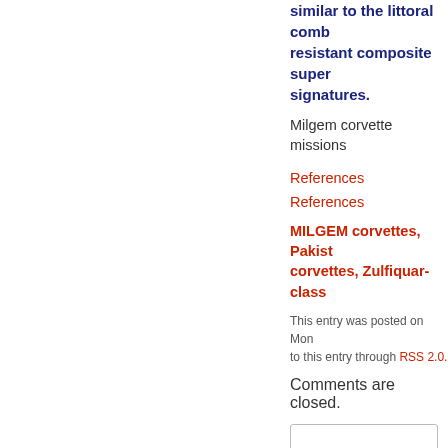similar to the littoral combat ship and uses corrosion resistant composite superstructure to reduce radar signatures.
Milgem corvette missions
References
References
MILGEM corvettes, Pakistani corvettes, Zulfiquar-class
This entry was posted on Mon... to this entry through RSS 2.0.
Comments are closed.